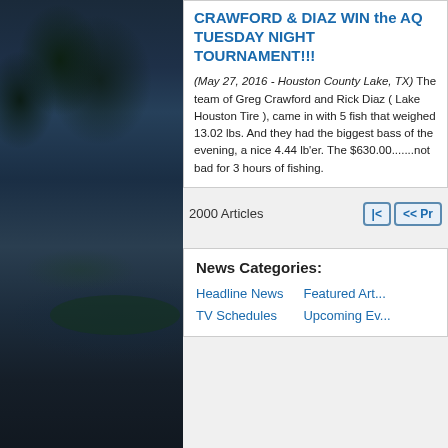[Figure (photo): Lake scene at dusk/night with dark water, trees on left, small island in middle distance, dark blue sky]
CRAWFORD & DIAZ WIN the AQ TUESDAY NIGHT TOURNAMENT!!!
(May 27, 2016 - Houston County Lake, TX) The team of Greg Crawford and Rick Diaz ( Lake Houston Tire ), came in with 5 fish that weighed 13.02 lbs. And they had the biggest bass of the evening, a nice 4.44 lb'er. The $630.00.......not bad for 3 hours of fishing.
2000 Articles
News Categories:
Headline News
TV Schedules
Featured Art...
Upcoming Ev...
Phone:90... Copyright © FishingWorld.com. All